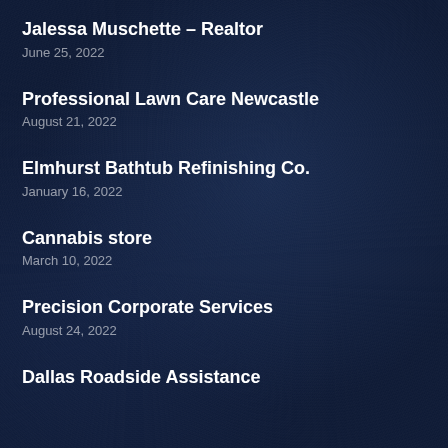Jalessa Muschette – Realtor
June 25, 2022
Professional Lawn Care Newcastle
August 21, 2022
Elmhurst Bathtub Refinishing Co.
January 16, 2022
Cannabis store
March 10, 2022
Precision Corporate Services
August 24, 2022
Dallas Roadside Assistance